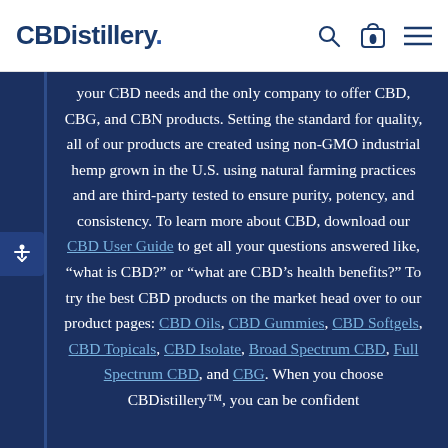CBDistillery. [search icon] [cart icon: 0] [menu icon]
your CBD needs and the only company to offer CBD, CBG, and CBN products. Setting the standard for quality, all of our products are created using non-GMO industrial hemp grown in the U.S. using natural farming practices and are third-party tested to ensure purity, potency, and consistency. To learn more about CBD, download our CBD User Guide to get all your questions answered like, “what is CBD?” or “what are CBD’s health benefits?” To try the best CBD products on the market head over to our product pages: CBD Oils, CBD Gummies, CBD Softgels, CBD Topicals, CBD Isolate, Broad Spectrum CBD, Full Spectrum CBD, and CBG. When you choose CBDistillery™, you can be confident